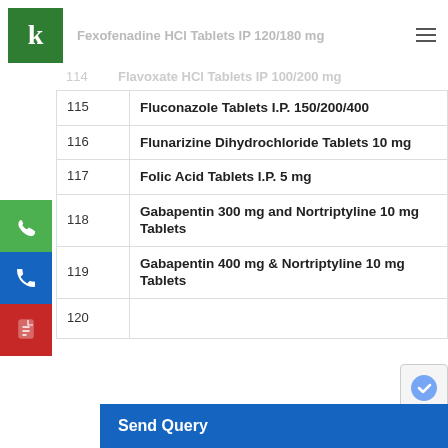Fexofenadine HCl Tablets IP 120/180 mg
114   Flavoxate HCl Tablets IP 100/200 mg
| No. | Product Name |
| --- | --- |
| 115 | Fluconazole Tablets I.P. 150/200/400 |
| 116 | Flunarizine Dihydrochloride Tablets 10 mg |
| 117 | Folic Acid Tablets I.P. 5 mg |
| 118 | Gabapentin 300 mg and Nortriptyline 10 mg Tablets |
| 119 | Gabapentin 400 mg & Nortriptyline 10 mg Tablets |
| 120 |  |
Send Query